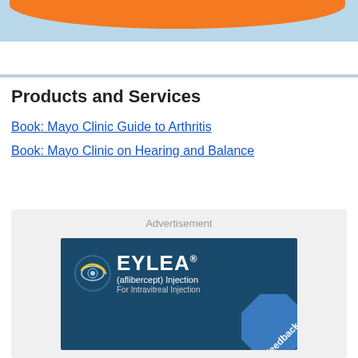[Figure (illustration): Top banner with light blue background and orange rounded shape at top]
Products and Services
Book: Mayo Clinic Guide to Arthritis
Book: Mayo Clinic on Hearing and Balance
[Figure (logo): EYLEA (aflibercept) Injection For Intravitreal Injection advertisement on dark blue background]
Advertisement
Feedback